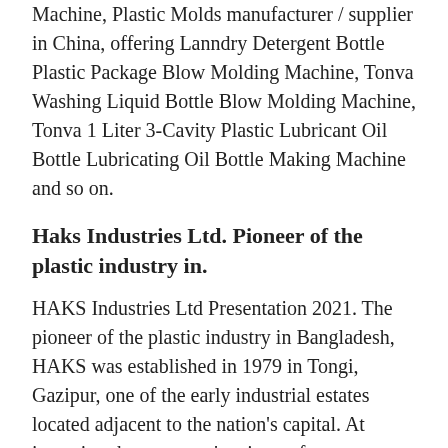Machine, Plastic Molds manufacturer / supplier in China, offering Lanndry Detergent Bottle Plastic Package Blow Molding Machine, Tonva Washing Liquid Bottle Blow Molding Machine, Tonva 1 Liter 3-Cavity Plastic Lubricant Oil Bottle Lubricating Oil Bottle Making Machine and so on.
Haks Industries Ltd. Pioneer of the plastic industry in.
HAKS Industries Ltd Presentation 2021. The pioneer of the plastic industry in Bangladesh, HAKS was established in 1979 in Tongi, Gazipur, one of the early industrial estates located adjacent to the nation's capital. At inception the company's primary focus was manufacturing of premium household products for the local market.
Film Blowing Machine - Ruian Hendin Machinery